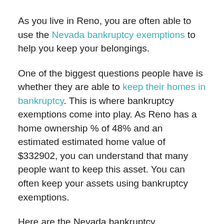As you live in Reno, you are often able to use the Nevada bankruptcy exemptions to help you keep your belongings.
One of the biggest questions people have is whether they are able to keep their homes in bankruptcy. This is where bankruptcy exemptions come into play. As Reno has a home ownership % of 48% and an estimated estimated home value of $332902, you can understand that many people want to keep this asset. You can often keep your assets using bankruptcy exemptions.
Here are the Nevada bankruptcy exemptions. The exemptions are revised on different occasions, so you may wish to check the most current information on exemptions. Also, as a reference, Nevada is a place that does not allow you to use